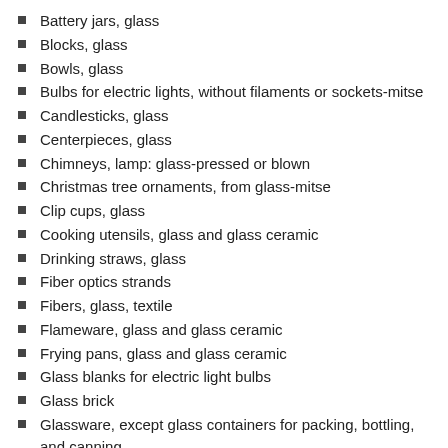Battery jars, glass
Blocks, glass
Bowls, glass
Bulbs for electric lights, without filaments or sockets-mitse
Candlesticks, glass
Centerpieces, glass
Chimneys, lamp: glass-pressed or blown
Christmas tree ornaments, from glass-mitse
Clip cups, glass
Cooking utensils, glass and glass ceramic
Drinking straws, glass
Fiber optics strands
Fibers, glass, textile
Flameware, glass and glass ceramic
Frying pans, glass and glass ceramic
Glass blanks for electric light bulbs
Glass brick
Glassware, except glass containers for packing, bottling, and canning
Glassware: art, decorative, and novelty
Goblets, glass
Illuminating glass: light shades, reflectors, lamp chimneys, and globes